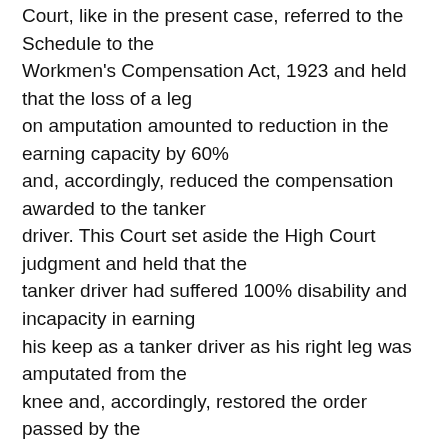Court, like in the present case, referred to the Schedule to the Workmen's Compensation Act, 1923 and held that the loss of a leg on amputation amounted to reduction in the earning capacity by 60% and, accordingly, reduced the compensation awarded to the tanker driver. This Court set aside the High Court judgment and held that the tanker driver had suffered 100% disability and incapacity in earning his keep as a tanker driver as his right leg was amputated from the knee and, accordingly, restored the order passed by the Commissioner of Workmen's Compensation. In K. Janardhan this